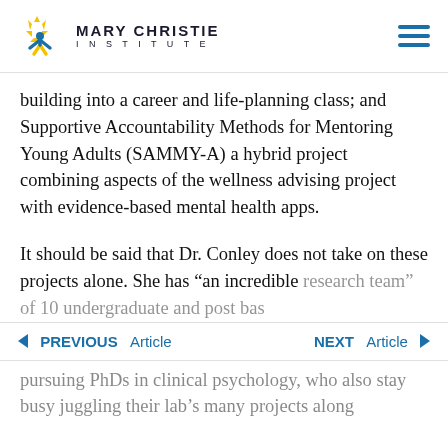Mary Christie Institute
building into a career and life-planning class; and Supportive Accountability Methods for Mentoring Young Adults (SAMMY-A) a hybrid project combining aspects of the wellness advising project with evidence-based mental health apps.
It should be said that Dr. Conley does not take on these projects alone. She has “an incredible research team” of 10 undergraduate and post bas
PREVIOUS Article   NEXT Article
pursuing PhDs in clinical psychology, who also stay busy juggling their lab’s many projects along